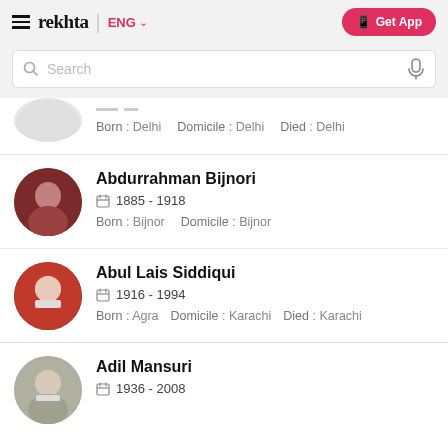rekhta | ENG  Get App
Search
Born : Delhi   Domicile : Delhi   Died : Delhi
Abdurrahman Bijnori
1885 - 1918
Born : Bijnor   Domicile : Bijnor
Abul Lais Siddiqui
1916 - 1994
Born : Agra   Domicile : Karachi   Died : Karachi
Adil Mansuri
1936 - 2008